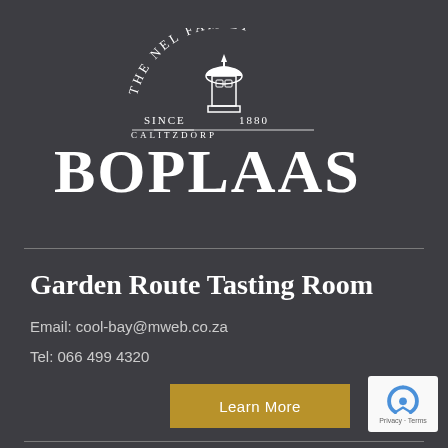[Figure (logo): The Nel Family Since 1880 Calitzdorp crest/tower logo with BOPLAAS text below]
Garden Route Tasting Room
Email: cool-bay@mweb.co.za
Tel: 066 499 4320
Learn More